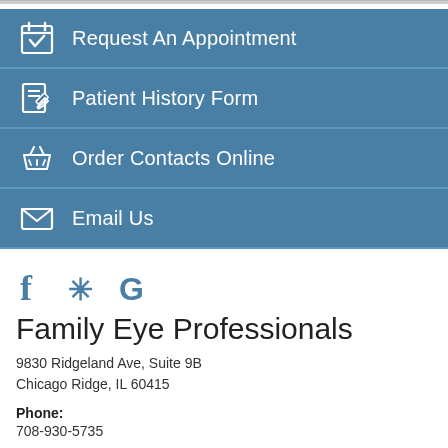Request An Appointment
Patient History Form
Order Contacts Online
Email Us
[Figure (infographic): Social media icons: Facebook (f), Yelp (*), Google (G) in teal/blue color]
Family Eye Professionals
9830 Ridgeland Ave, Suite 9B
Chicago Ridge, IL 60415
Phone:
708-930-5735
Monday:    9:00 AM - 5:00 PM